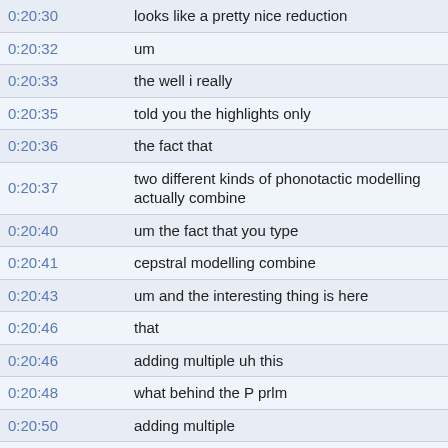| Time | Transcript |
| --- | --- |
| 0:20:30 | looks like a pretty nice reduction |
| 0:20:32 | um |
| 0:20:33 | the well i really |
| 0:20:35 | told you the highlights only |
| 0:20:36 | the fact that |
| 0:20:37 | two different kinds of phonotactic modelling actually combine |
| 0:20:40 | um the fact that you type |
| 0:20:41 | cepstral modelling combine |
| 0:20:43 | um and the interesting thing is here |
| 0:20:46 | that |
| 0:20:46 | adding multiple uh this |
| 0:20:48 | what behind the P prlm |
| 0:20:50 | adding multiple |
| 0:20:51 | language |
| 0:20:52 | pacific |
| 0:20:53 | uh phonotactic model |
| 0:20:55 | does not help |
| 0:20:56 | okay |
| 0:20:56 | the one thing that all these other things it's no longer useful to |